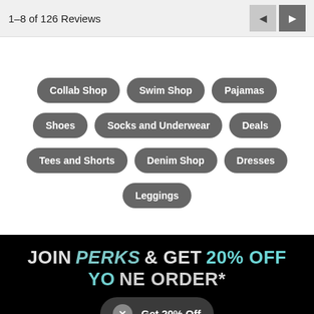1–8 of 126 Reviews
Collab Shop
Swim Shop
Pajamas
Shoes
Socks and Underwear
Deals
Tees and Shorts
Denim Shop
Dresses
Leggings
JOIN PERKS & GET 20% OFF YOUR ONE ORDER*
Get 20% Off